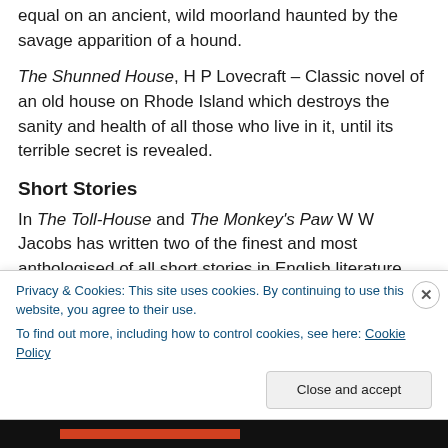equal on an ancient, wild moorland haunted by the savage apparition of a hound.
The Shunned House, H P Lovecraft – Classic novel of an old house on Rhode Island which destroys the sanity and health of all those who live in it, until its terrible secret is revealed.
Short Stories
In The Toll-House and The Monkey's Paw W W Jacobs has written two of the finest and most anthologised of all short stories in English literature.
Privacy & Cookies: This site uses cookies. By continuing to use this website, you agree to their use.
To find out more, including how to control cookies, see here: Cookie Policy